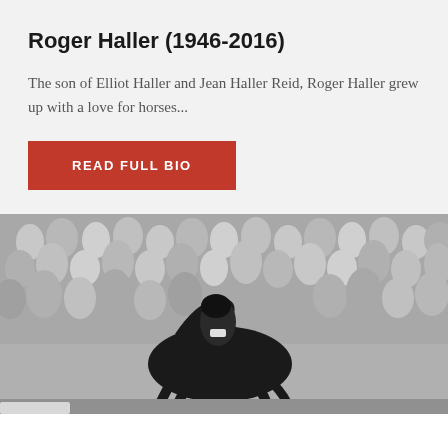Roger Haller (1946-2016)
The son of Elliot Haller and Jean Haller Reid, Roger Haller grew up with a love for horses...
READ FULL BIO
[Figure (photo): Black and white photograph of a rider on horseback jumping, with a large crowd of spectators in the background. The image shows an equestrian show jumping competition.]